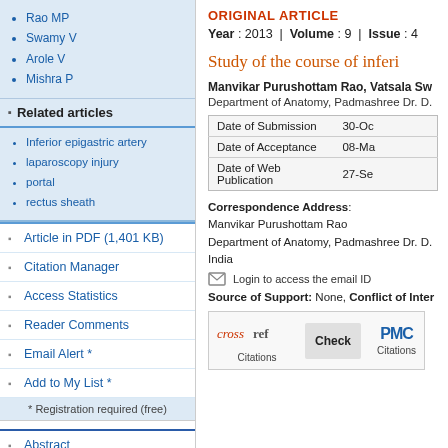Rao MP
Swamy V
Arole V
Mishra P
Related articles
Inferior epigastric artery
laparoscopy injury
portal
rectus sheath
Article in PDF (1,401 KB)
Citation Manager
Access Statistics
Reader Comments
Email Alert *
Add to My List *
* Registration required (free)
Abstract
Introduction
ORIGINAL ARTICLE
Year : 2013 | Volume : 9 | Issue : 4
Study of the course of inferi
Manvikar Purushottam Rao, Vatsala Sw
Department of Anatomy, Padmashree Dr. D.
|  |  |
| --- | --- |
| Date of Submission | 30-Oc |
| Date of Acceptance | 08-Ma |
| Date of Web Publication | 27-Se |
Correspondence Address:
Manvikar Purushottam Rao
Department of Anatomy, Padmashree Dr. D.
India
Login to access the email ID
Source of Support: None, Conflict of Inter
[Figure (logo): Crossref Citations check button and PMC Citations logo]